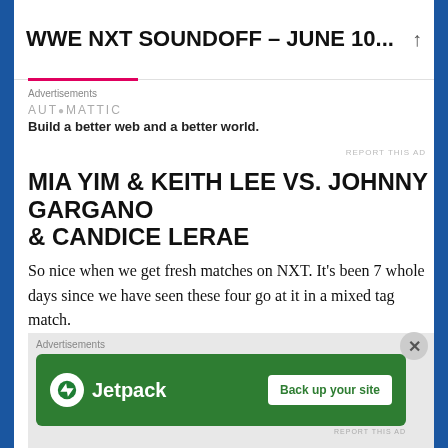WWE NXT SOUNDOFF – JUNE 10...
[Figure (other): Automattic advertisement banner: logo text 'AUTOMATTIC' and tagline 'Build a better web and a better world.']
MIA YIM & KEITH LEE VS. JOHNNY GARGANO & CANDICE LERAE
So nice when we get fresh matches on NXT. It's been 7 whole days since we have seen these four go at it in a mixed tag match.
Has there ever been a change in a wrestlers music as much as Johnny's?
[Figure (other): Jetpack advertisement banner with green background. Shows Jetpack logo (lightning bolt icon) and text 'Jetpack' with a button 'Back up your site']